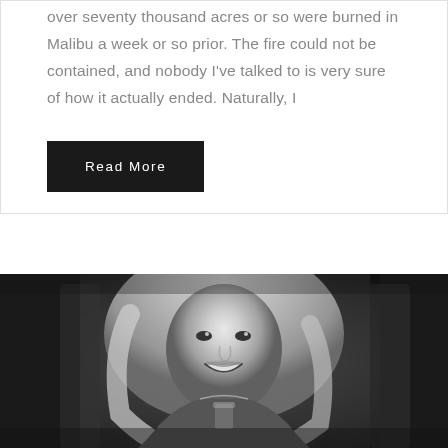over seventy thousand acres or so were burned in Malibu a week or so prior. The fire could not be contained, and nobody I've talked to is very sure of how it actually ended. Naturally, I
Read More
[Figure (photo): Black and white photo of a smiling blonde woman holding a drink, seated at what appears to be a restaurant or bar setting]